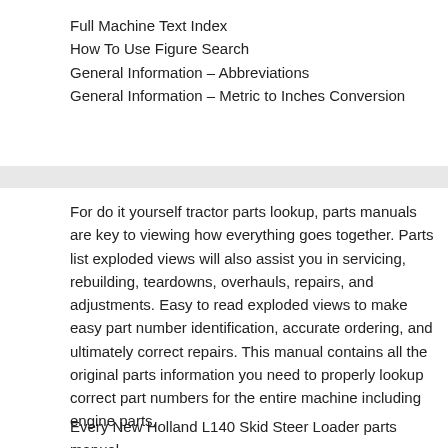Full Machine Text Index
How To Use Figure Search
General Information – Abbreviations
General Information – Metric to Inches Conversion
For do it yourself tractor parts lookup, parts manuals are key to viewing how everything goes together. Parts list exploded views will also assist you in servicing, rebuilding, teardowns, overhauls, repairs, and adjustments. Easy to read exploded views to make easy part number identification, accurate ordering, and ultimately correct repairs. This manual contains all the original parts information you need to properly lookup correct part numbers for the entire machine including engine parts.
Every New Holland L140 Skid Steer Loader parts manual